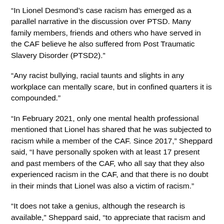“In Lionel Desmond’s case racism has emerged as a parallel narrative in the discussion over PTSD. Many family members, friends and others who have served in the CAF believe he also suffered from Post Traumatic Slavery Disorder (PTSD2).”
“Any racist bullying, racial taunts and slights in any workplace can mentally scare, but in confined quarters it is compounded.”
“In February 2021, only one mental health professional mentioned that Lionel has shared that he was subjected to racism while a member of the CAF. Since 2017,” Sheppard said, “I have personally spoken with at least 17 present and past members of the CAF, who all say that they also experienced racism in the CAF, and that there is no doubt in their minds that Lionel was also a victim of racism.”
“It does not take a genius, although the research is available,” Sheppard said, “to appreciate that racism and hate experiences in the workplace is hazardous to their health to say the least,”